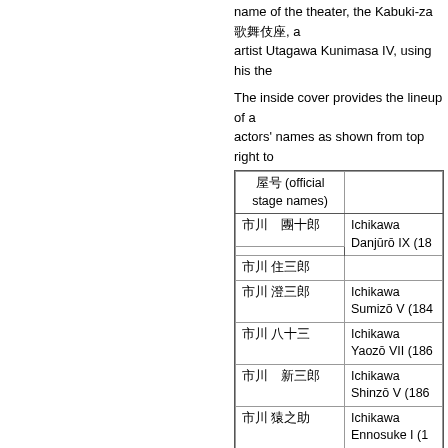name of the theater, the Kabuki-za 歌舞伎座, and artist Utagawa Kunimasa IV, using his the
The inside cover provides the lineup of a actors' names as shown from top right to
| 屋号 (official stage names) |  |
| --- | --- |
| 市川　團十郎 | Ichikawa Danjūrō IX (18 |
| 市川 住三郎 |  |
| 市川 澄三郎 | Ichikawa Sumizō V (184 |
| 市川 八十三 | Ichikawa Yaozō VII (186 |
| 市川　新三郎 | Ichikawa Shinzō V (186 |
| 市川 猿之助 | Ichikawa Ennosuke I (1 |
| 片岡 市蔵 | Kataoka Ichizō III (1851 |
| 市川 眼十郎 | Ichikawa Metora II (186 |
| 市川 福助 | Nakamura Fukusuke I ( |
| 市川 権十郎 | Ichikawa Gonjūrō II (18 |
| 市川 中庸 | Bandō Shūchō I (1848- |
|  | Nakamura Shikan IV (1 |
Starting on the page 1, to the left of the li Motomezuka migawari Nitta (求塚身替新田), four the right-hand sheet of page 5 (五枚目). It is fo